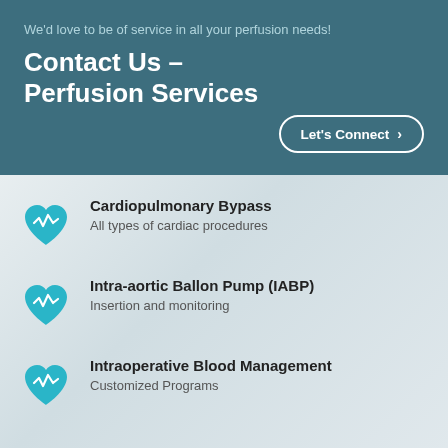We'd love to be of service in all your perfusion needs!
Contact Us – Perfusion Services
Let's Connect ›
Cardiopulmonary Bypass
All types of cardiac procedures
Intra-aortic Ballon Pump (IABP)
Insertion and monitoring
Intraoperative Blood Management
Customized Programs